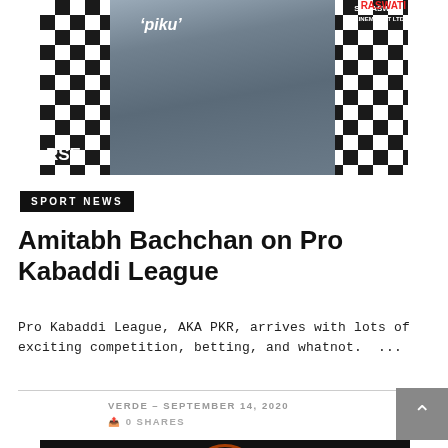[Figure (photo): Photo of a man in dark jacket standing in front of a black and white checkered backdrop with PIKU and SARASWATI logos]
SPORT NEWS
Amitabh Bachchan on Pro Kabaddi League
Pro Kabaddi League, AKA PKR, arrives with lots of exciting competition, betting, and whatnot.  ...
VERDE – SEPTEMBER 14, 2020
🗂 0 SHARES
[Figure (photo): Bottom photo partially visible, dark background with orange graphic element]